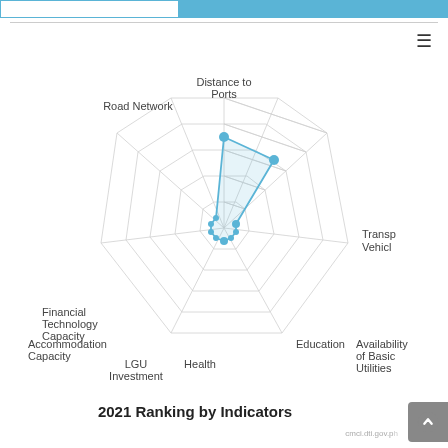[Figure (radar-chart): Radar chart showing 2021 ranking by indicators. Data points plotted: Distance to Ports ~0.7, Availability of Basic Utilities ~0.65, Transportation Vehicles ~0.1, Education ~0.1, Health ~0.15, LGU Investment ~0.1, Accommodation Capacity ~0.1, Information Technology Capacity ~0.1, Financial Technology Capacity ~0.1, Road Network ~0.1]
2021 Ranking by Indicators